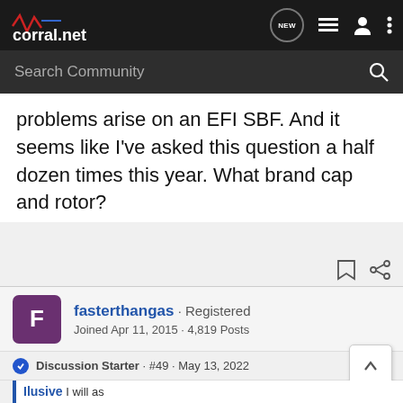corral.net — navigation bar with NEW, list, user, and menu icons
Search Community
problems arise on an EFI SBF. And it seems like I've asked this question a half dozen times this year. What brand cap and rotor?
fasterthangas · Registered
Joined Apr 11, 2015 · 4,819 Posts
Discussion Starter · #49 · May 13, 2022
Ilusive... I will as... oblems arise... a half